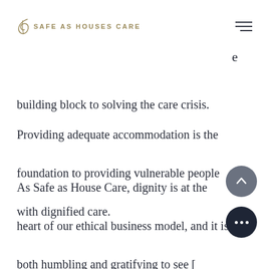SAFE AS HOUSES CARE
e
building block to solving the care crisis.

Providing adequate accommodation is the foundation to providing vulnerable people with dignified care.
As Safe as House Care, dignity is at the heart of our ethical business model, and it is both humbling and gratifying to see [this focus] on providing personal care in the genuinely